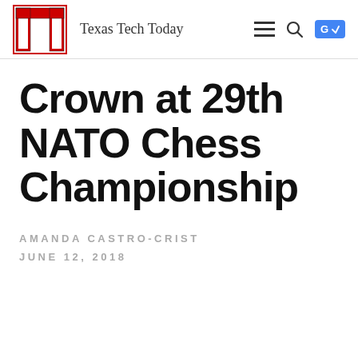Texas Tech Today
Crown at 29th NATO Chess Championship
AMANDA CASTRO-CRIST
JUNE 12, 2018